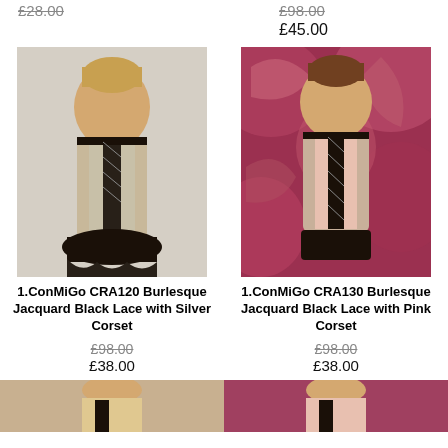£28.00
£98.00 (strikethrough)
£45.00
[Figure (photo): Woman wearing a silver burlesque corset with black lace, posed against white background]
[Figure (photo): Woman wearing a pink burlesque corset with black lace, posed against floral rose background]
1.ConMiGo CRA120 Burlesque Jacquard Black Lace with Silver Corset
1.ConMiGo CRA130 Burlesque Jacquard Black Lace with Pink Corset
£98.00 (strikethrough)
£38.00
£98.00 (strikethrough)
£38.00
[Figure (photo): Partial bottom image of a corset product, left column]
[Figure (photo): Partial bottom image of a corset product, right column]